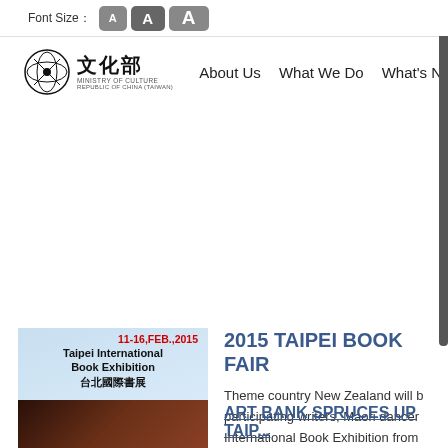Font Size: A A A
[Figure (logo): Ministry of Culture Republic of China (Taiwan) logo with Chinese characters 文化部 and circular seal icon]
About Us   What We Do   What's New
[Figure (photo): 2015 Taipei International Book Exhibition promotional image with book sculpture, dated 11-16 FEB., 2015]
2015 TAIPEI BOOK FAIR
Theme country New Zealand will be participating writers, Maori dancers, International Book Exhibition from
[Figure (photo): Art Bank article thumbnail photo]
ART BANK SPRUCES UP TAIP...